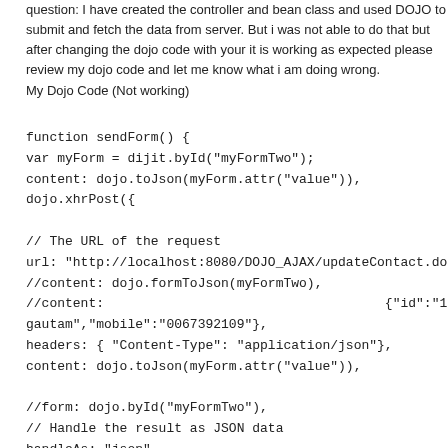question: I have created the controller and bean class and used DOJO to submit and fetch the data from server. But i was not able to do that but after changing the dojo code with your it is working as expected please review my dojo code and let me know what i am doing wrong.
My Dojo Code (Not working)
function sendForm() {
var myForm = dijit.byId("myFormTwo");
content: dojo.toJson(myForm.attr("value")),
dojo.xhrPost({

// The URL of the request
url: "http://localhost:8080/DOJO_AJAX/updateContact.do",
//content: dojo.formToJson(myFormTwo),
//content:                                    {"id":"1","name":"vivekagautam","mobile":"0067392109"},
headers: { "Content-Type": "application/json"},
content: dojo.toJson(myForm.attr("value")),

//form: dojo.byId("myFormTwo"),
// Handle the result as JSON data
handleAs: "json",